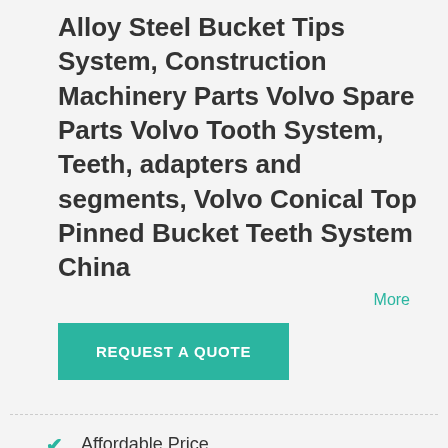Alloy Steel Bucket Tips System, Construction Machinery Parts Volvo Spare Parts Volvo Tooth System, Teeth, adapters and segments, Volvo Conical Top Pinned Bucket Teeth System China
More
REQUEST A QUOTE
Affordable Price
OEM Parts Available
Prompt Fo...